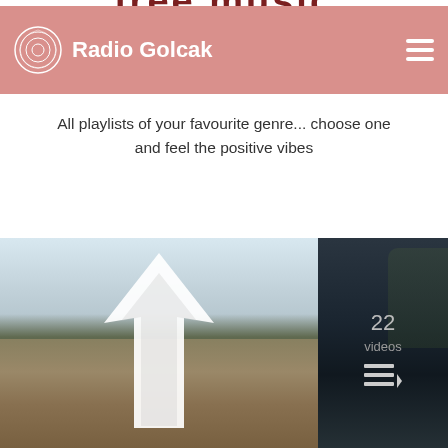free music
Radio Golcak
All playlists of your favourite genre... choose one and feel the positive vibes
[Figure (screenshot): Landscape photo with white stylized bird/arrow logo overlay on left. Dark nature panel on right showing '22 videos' text and a playlist icon.]